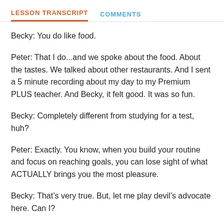LESSON TRANSCRIPT   COMMENTS
Becky: You do like food.
Peter: That I do...and we spoke about the food. About the tastes. We talked about other restaurants. And I sent a 5 minute recording about my day to my Premium PLUS teacher. And Becky, it felt good. It was so fun.
Becky: Completely different from studying for a test, huh?
Peter: Exactly. You know, when you build your routine and focus on reaching goals, you can lose sight of what ACTUALLY brings you the most pleasure.
Becky: That’s very true. But, let me play devil’s advocate here. Can I?